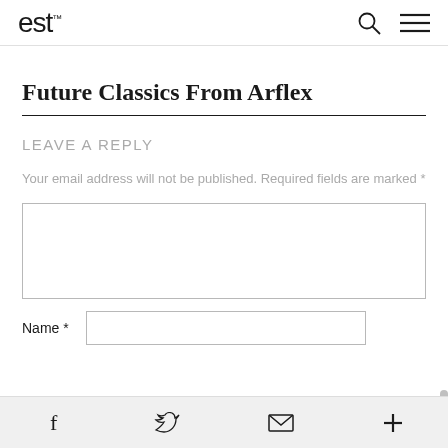est™ [search icon] [menu icon]
Future Classics From Arflex
LEAVE A REPLY
Your email address will not be published. Required fields are marked *
[Comment text area]
Name *
[Facebook] [Twitter] [Email] [Plus]